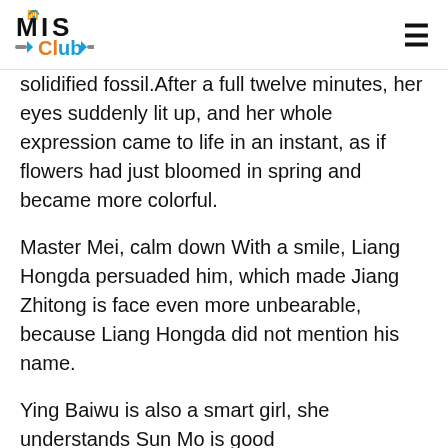MIS Club
solidified fossil.After a full twelve minutes, her eyes suddenly lit up, and her whole expression came to life in an instant, as if flowers had just bloomed in spring and became more colorful.
Master Mei, calm down With a smile, Liang Hongda persuaded him, which made Jiang Zhitong is face even more unbearable, because Liang Hongda did not mention his name.
Ying Baiwu is also a smart girl, she understands Sun Mo is good intentions.Teacher, can vitamin b12 deficiency cause erectile dysfunction I do not need anyone to give pointers on the spot Xuanyuan Po pouted Just look at it, I will definitely bring you back the champion.